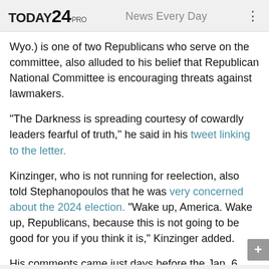TODAY24 PRO   News Every Day
Wyo.) is one of two Republicans who serve on the committee, also alluded to his belief that Republican National Committee is encouraging threats against lawmakers.
"The Darkness is spreading courtesy of cowardly leaders fearful of truth," he said in his tweet linking to the letter.
Kinzinger, who is not running for reelection, also told Stephanopoulos that he was very concerned about the 2024 election. "Wake up, America. Wake up, Republicans, because this is not going to be good for you if you think it is," Kinzinger added.
His comments came just days before the Jan. 6 panel is set to hold is fourth hearing that will focus on former President Trump's efforts to pressure state officials in the aftermath of the 2020 election results.